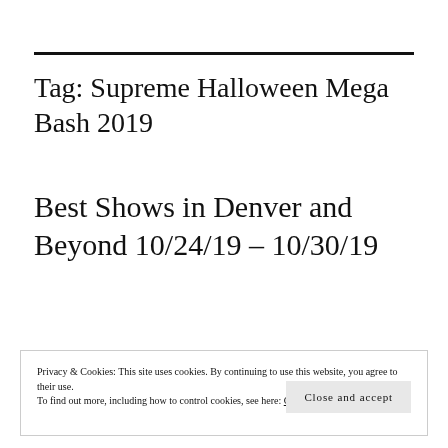Tag: Supreme Halloween Mega Bash 2019
Best Shows in Denver and Beyond 10/24/19 – 10/30/19
Privacy & Cookies: This site uses cookies. By continuing to use this website, you agree to their use.
To find out more, including how to control cookies, see here: Cookie Policy
Close and accept